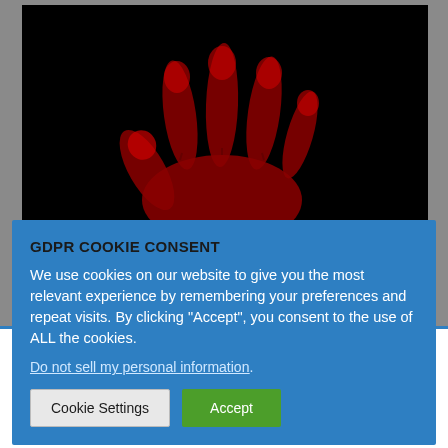[Figure (illustration): Black background with a red glowing hand/fingers illustration, spooky or horror themed image]
GDPR COOKIE CONSENT
We use cookies on our website to give you the most relevant experience by remembering your preferences and repeat visits. By clicking “Accept”, you consent to the use of ALL the cookies.
Do not sell my personal information.
Cookie Settings | Accept
Privacy & Cookies: This site uses cookies. By continuing to use this website, you agree to their use.
To find out more, including how to control cookies, see here: Cookie Policy
Close and accept